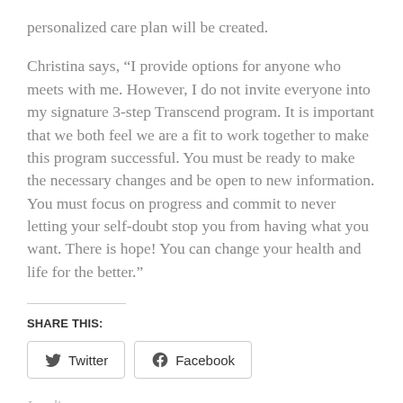personalized care plan will be created.
Christina says, “I provide options for anyone who meets with me. However, I do not invite everyone into my signature 3-step Transcend program. It is important that we both feel we are a fit to work together to make this program successful. You must be ready to make the necessary changes and be open to new information. You must focus on progress and commit to never letting your self-doubt stop you from having what you want. There is hope! You can change your health and life for the better.”
SHARE THIS:
Twitter
Facebook
Loading...